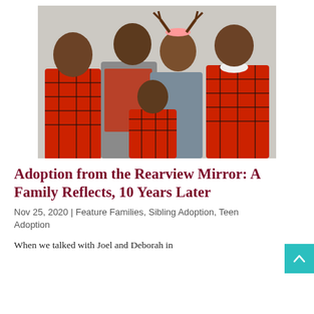[Figure (photo): A family of five posing together wearing matching red and black plaid flannel shirts. Two teenage boys on the left, a woman with reindeer antler headband in the center-back, a young girl in front center, and a bald man on the right. White/cream background.]
Adoption from the Rearview Mirror: A Family Reflects, 10 Years Later
Nov 25, 2020 | Feature Families, Sibling Adoption, Teen Adoption
When we talked with Joel and Deborah in